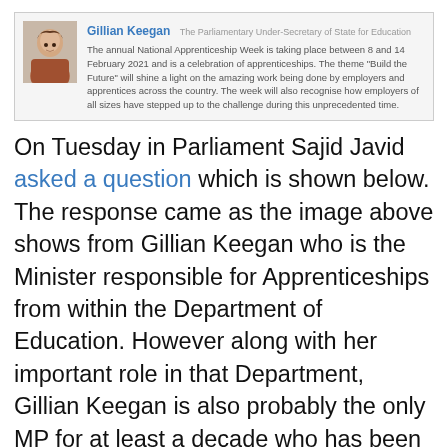[Figure (photo): Photo of Gillian Keegan with quote box containing her name, title, and statement about National Apprenticeship Week]
Gillian Keegan The Parliamentary Under-Secretary of State for Education
The annual National Apprenticeship Week is taking place between 8 and 14 February 2021 and is a celebration of apprenticeships. The theme "Build the Future" will shine a light on the amazing work being done by employers and apprentices across the country. The week will also recognise how employers of all sizes have stepped up to the challenge during this unprecedented time.
On Tuesday in Parliament Sajid Javid asked a question which is shown below. The response came as the image above shows from Gillian Keegan who is the Minister responsible for Apprenticeships from within the Department of Education. However along with her important role in that Department, Gillian Keegan is also probably the only MP for at least a decade who has been appointed as a Minister who has also worked as an apprentice herself which is much more critical in this context. The challenge is that so often Governments of the day determine people to be their Ministers for a vast